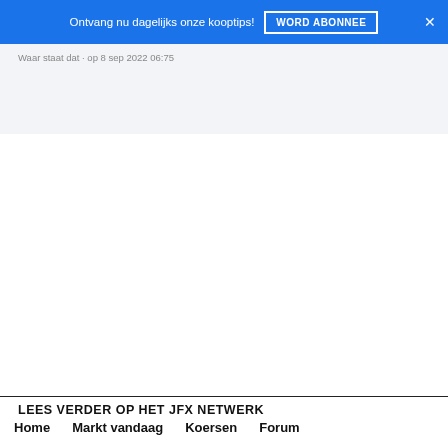Ontvang nu dagelijks onze kooptips! WORD ABONNEE ×
Waar staat dat · op 8 sep 2022 06:75
LEES VERDER OP HET JFX NETWERK
Home   Markt vandaag   Koersen   Forum